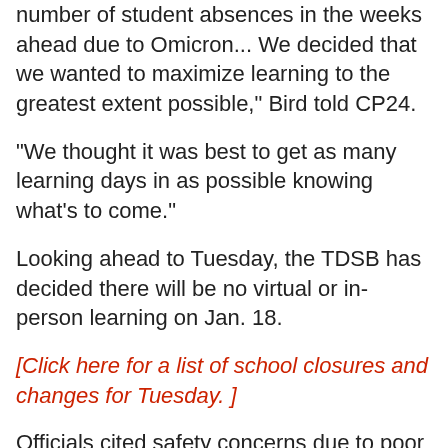number of student absences in the weeks ahead due to Omicron... We decided that we wanted to maximize learning to the greatest extent possible," Bird told CP24.
"We thought it was best to get as many learning days in as possible knowing what's to come."
Looking ahead to Tuesday, the TDSB has decided there will be no virtual or in-person learning on Jan. 18.
[Click here for a list of school closures and changes for Tuesday. ]
Officials cited safety concerns due to poor road conditions, snow drifts, plowing and the high possibility that buses will be delayed.
"With all of this in mind, we have made the decision to close all schools to in-person learning for Tuesday, January 18. Students will not participate in live remote or virtual learning," officials said in an email to parents.